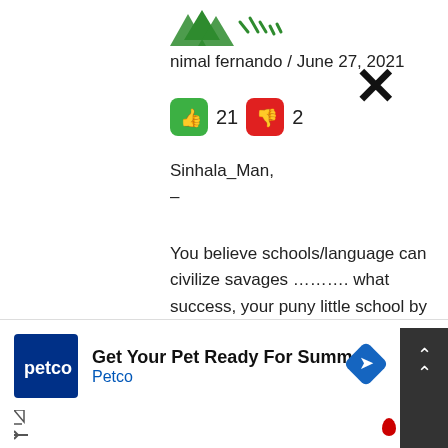[Figure (logo): Green tree/leaf logo icon]
nimal fernando / June 27, 2021
[Figure (other): Thumbs up (green) icon with count 21, thumbs down (red) icon with count 2]
Sinhala_Man,
–
You believe schools/language can civilize savages ………. what success, your puny little school by the sea that churn out short little dark Lankan men with good English and bad accents has had? :))
–
Mahinda too thought as much ………. sent h
[Figure (other): Petco advertisement: Get Your Pet Ready For Summe / Petco]
[Figure (other): Close X button overlay on comment]